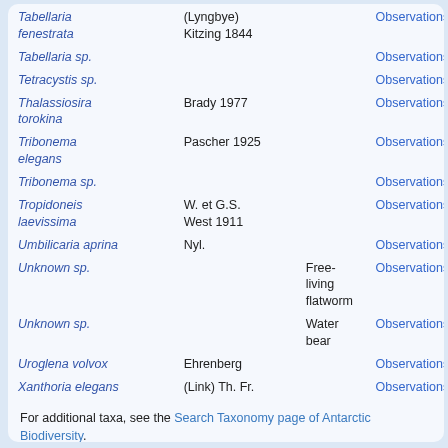| Species | Authority | Common Name | Link |
| --- | --- | --- | --- |
| Tabellaria fenestrata | (Lyngbye) Kitzing 1844 |  | Observations |
| Tabellaria sp. |  |  | Observations |
| Tetracystis sp. |  |  | Observations |
| Thalassiosira torokina | Brady 1977 |  | Observations |
| Tribonema elegans | Pascher 1925 |  | Observations |
| Tribonema sp. |  |  | Observations |
| Tropidoneis laevissima | W. et G.S. West 1911 |  | Observations |
| Umbilicaria aprina | Nyl. |  | Observations |
| Unknown sp. |  | Free-living flatworm | Observations |
| Unknown sp. |  | Water bear | Observations |
| Uroglena volvox | Ehrenberg |  | Observations |
| Xanthoria elegans | (Link) Th. Fr. |  | Observations |
For additional taxa, see the Search Taxonomy page of Antarctic Biodiversity.